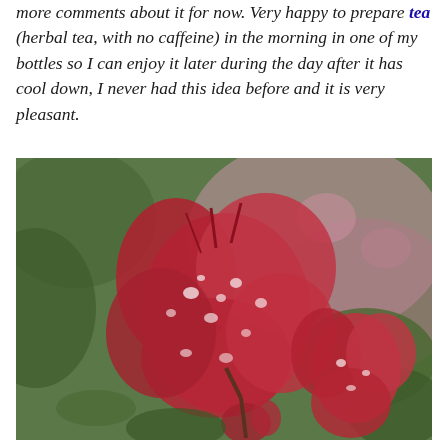more comments about it for now. Very happy to prepare tea (herbal tea, with no caffeine) in the morning in one of my bottles so I can enjoy it later during the day after it has cool down, I never had this idea before and it is very pleasant.
[Figure (photo): Close-up photograph of red flowers (possibly grevillea or similar plant) covered in water droplets/dew, with a soft blurred green and pink background. The flowers are vivid red/crimson with delicate petals and visible water beads.]